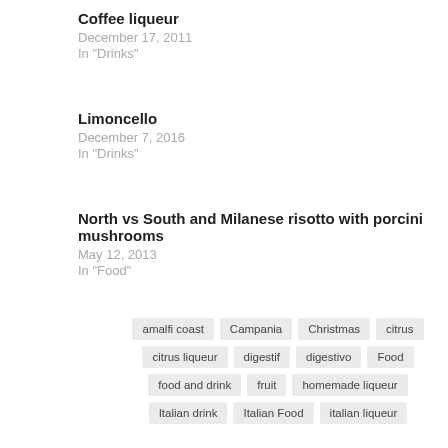Coffee liqueur
December 17, 2011
In "Drinks"
Limoncello
December 7, 2016
In "Drinks"
North vs South and Milanese risotto with porcini mushrooms
May 12, 2013
In "Food"
amalfi coast
Campania
Christmas
citrus
citrus liqueur
digestif
digestivo
Food
food and drink
fruit
homemade liqueur
Italian drink
Italian Food
italian liqueur